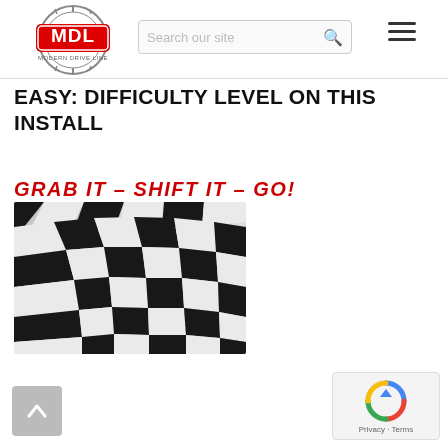MDL Modern Drive Line - Search our site
EASY:  DIFFICULTY LEVEL ON THIS INSTALL
GRAB IT  –  SHIFT IT  –  GO!
[Figure (photo): Checkered racing flag photo, black and white waving flag]
[Figure (logo): MDL Modern Drive Line logo]
[Figure (other): reCAPTCHA privacy widget bottom right]
[Figure (other): Scroll to top button, bottom left]